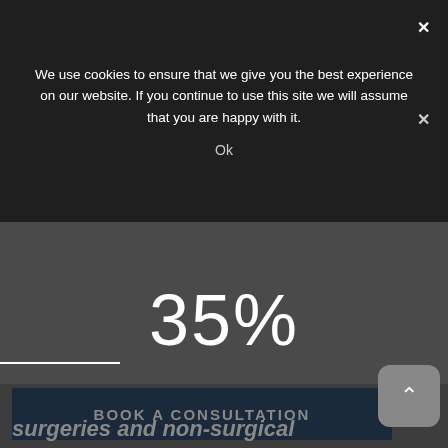We use cookies to ensure that we give you the best experience on our website. If you continue to use this site we will assume that you are happy with it.
Ok
35%
BOOK A CONSULTATION
surgeries and non-surgical